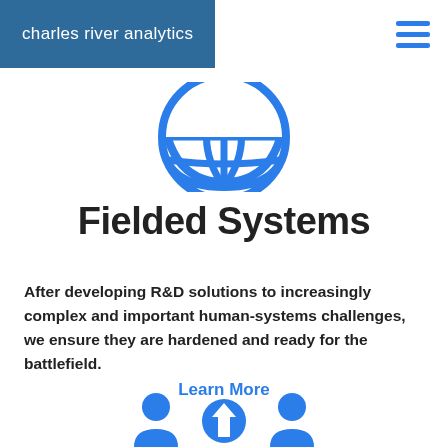charles river analytics
[Figure (logo): Blue half-globe/grid icon representing fielded systems]
Fielded Systems
After developing R&D solutions to increasingly complex and important human-systems challenges, we ensure they are hardened and ready for the battlefield.
Learn More
[Figure (illustration): Three blue icons at the bottom: person, upward arrow, person — partially visible]